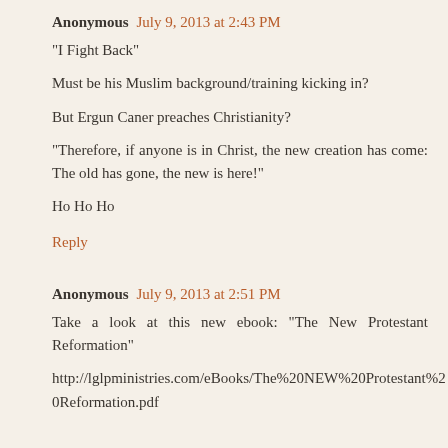Anonymous  July 9, 2013 at 2:43 PM
"I Fight Back"

Must be his Muslim background/training kicking in?

But Ergun Caner preaches Christianity?

"Therefore, if anyone is in Christ, the new creation has come: The old has gone, the new is here!"

Ho Ho Ho
Reply
Anonymous  July 9, 2013 at 2:51 PM
Take a look at this new ebook: "The New Protestant Reformation"

http://lglpministries.com/eBooks/The%20NEW%20Protestant%20Reformation.pdf